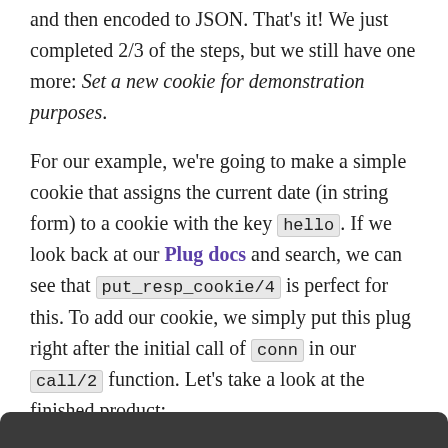and then encoded to JSON. That's it! We just completed 2/3 of the steps, but we still have one more: Set a new cookie for demonstration purposes.
For our example, we're going to make a simple cookie that assigns the current date (in string form) to a cookie with the key hello. If we look back at our Plug docs and search, we can see that put_resp_cookie/4 is perfect for this. To add our cookie, we simply put this plug right after the initial call of conn in our call/2 function. Let's take a look at the finished product: